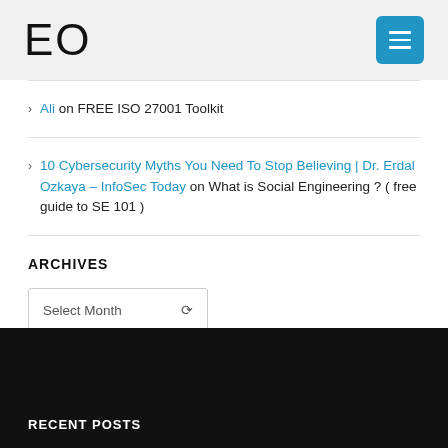[Figure (logo): EO logo with large stylized letters E and O]
Ali on FREE ISO 27001 Toolkit
10 Cybersecurity Myths You Need To Stop Believing | Dr. Erdal Ozkaya – InfoSec Today on What is Social Engineering ? ( free guide to SE 101 )
ARCHIVES
Select Month
RECENT POSTS